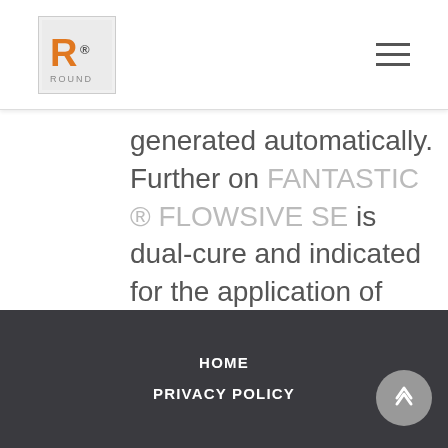R logo and hamburger menu
generated automatically. Further on FANTASTIC ® FLOWSIVE SE is dual-cure and indicated for the application of dual-cure composites, like core build-up materials.
HOME
PRIVACY POLICY